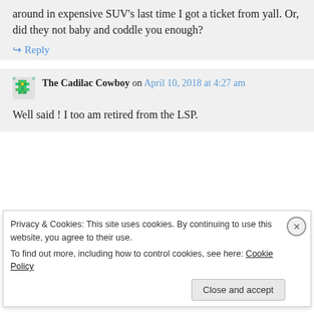around in expensive SUV's last time I got a ticket from yall. Or, did they not baby and coddle you enough?
↪ Reply
The Cadilac Cowboy on April 10, 2018 at 4:27 am
Well said ! I too am retired from the LSP.
Privacy & Cookies: This site uses cookies. By continuing to use this website, you agree to their use. To find out more, including how to control cookies, see here: Cookie Policy
Close and accept